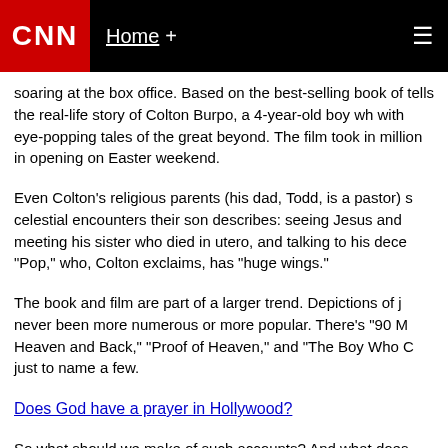CNN | Home +
soaring at the box office. Based on the best-selling book of tells the real-life story of Colton Burpo, a 4-year-old boy wh with eye-popping tales of the great beyond. The film took in million in opening on Easter weekend.
Even Colton's religious parents (his dad, Todd, is a pastor) s celestial encounters their son describes: seeing Jesus and meeting his sister who died in utero, and talking to his dece "Pop," who, Colton exclaims, has "huge wings."
The book and film are part of a larger trend. Depictions of j never been more numerous or more popular. There's "90 M Heaven and Back," "Proof of Heaven," and "The Boy Who C just to name a few.
Does God have a prayer in Hollywood?
So what should we make of such accounts? And what does us?